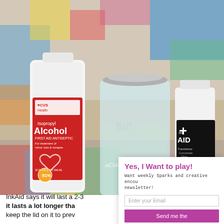[Figure (photo): Photo of craft supplies on a colorful painted table: a CVS Health Isopropyl Alcohol 91% bottle (32 FL OZ), a Ball mason jar, and an inkAID Transferiez Concentrate Gloss Image Transfer Medium bottle, against a colorful abstract painted background]
Yes, I Want to play!
Want weekly Sparks and creative encou newsletter!
Enter your Email
Send me the
Priva Yes, I would like you to send me a newslett
InkAid says it will last a 2-3 it lasts a lot longer tha keep the lid on it to prev